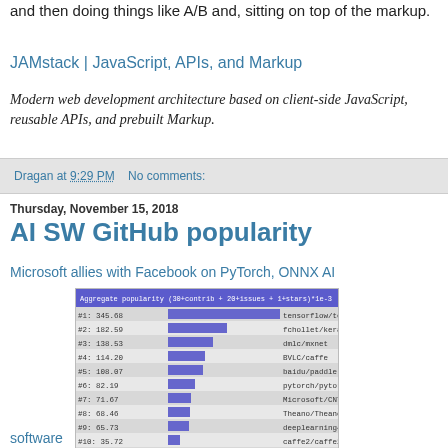and then doing things like A/B and, sitting on top of the markup.
JAMstack | JavaScript, APIs, and Markup
Modern web development architecture based on client-side JavaScript, reusable APIs, and prebuilt Markup.
Dragan at 9:29 PM    No comments:
Thursday, November 15, 2018
AI SW GitHub popularity
Microsoft allies with Facebook on PyTorch, ONNX AI
[Figure (bar-chart): Aggregate popularity (30+contrib + 20+issues + 1+stars)*1e-3]
software